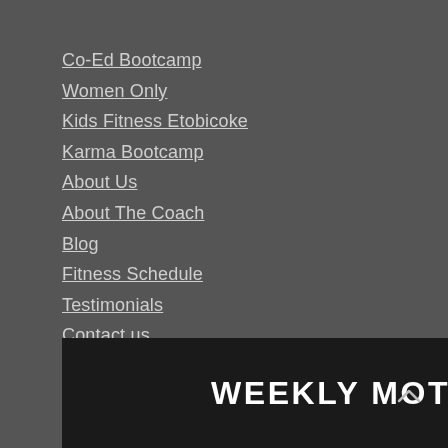Co-Ed Bootcamp
Women Only
Kids Fitness Etobicoke
Karma Bootcamp
About Us
About The Coach
Blog
Fitness Schedule
Testimonials
Contact us
WEEKLY MOTIVATION